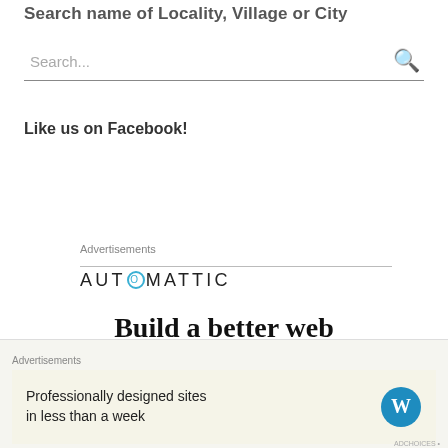Search name of Locality, Village or City
Search...
Like us on Facebook!
Advertisements
[Figure (logo): AUTOMATTIC logo with a circular O icon in blue]
Build a better web
Advertisements
Professionally designed sites in less than a week